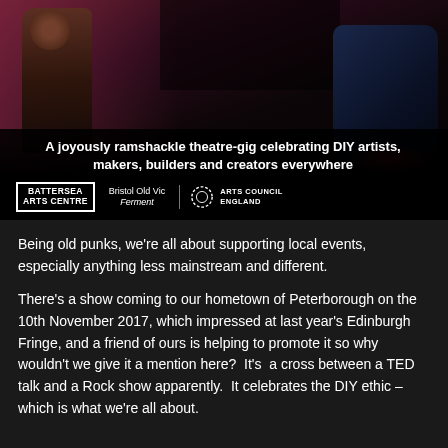[Figure (photo): Dark stage photo with two performers; one on left side, one crouching on right. Pink/red stage lighting. Below the photo are logos for Battersea Arts Centre, Bristol Old Vic Ferment, and Arts Council England, with tagline text.]
A joyously ramshackle theatre-gig celebrating DIY artists, makers, builders and creators everywhere
Being old punks, we're all about supporting local events, especially anything less mainstream and different.
There's a show coming to our hometown of Peterborough on the 10th November 2017, which impressed at last year's Edinburgh Fringe, and a friend of ours is helping to promote it so why wouldn't we give it a mention here?  It's  a cross between a TED talk and a Rock show apparently.  It celebrates the DIY ethic – which is what we're all about.